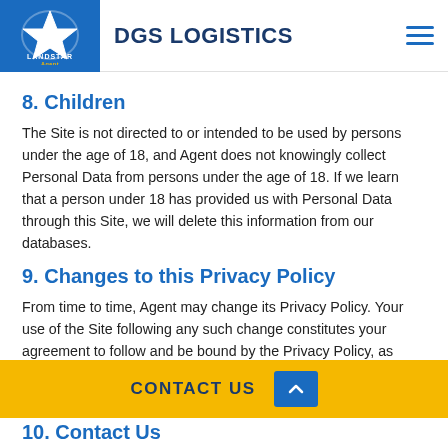DGS LOGISTICS
8. Children
The Site is not directed to or intended to be used by persons under the age of 18, and Agent does not knowingly collect Personal Data from persons under the age of 18. If we learn that a person under 18 has provided us with Personal Data through this Site, we will delete this information from our databases.
9. Changes to this Privacy Policy
From time to time, Agent may change its Privacy Policy. Your use of the Site following any such change constitutes your agreement to follow and be bound by the Privacy Policy, as changed, and to its application to all information gathered before and after its effective
10. Contact Us